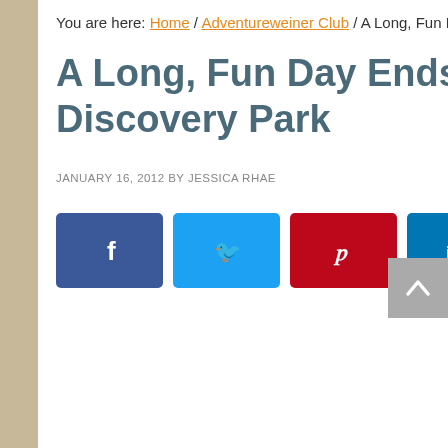You are here: Home / Adventureweiner Club / A Long, Fun Day Ends at Discovery Park
A Long, Fun Day Ends at Discovery Park
JANUARY 16, 2012 BY JESSICA RHAE
19 COMMENTS
[Figure (infographic): Social share buttons: Facebook (dark blue), Twitter (light blue), Pinterest (dark red), LinkedIn (dark blue)]